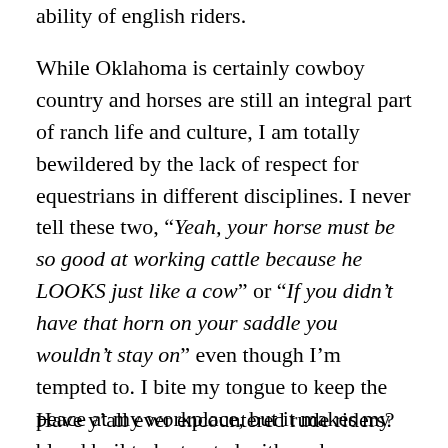ability of english riders.
While Oklahoma is certainly cowboy country and horses are still an integral part of ranch life and culture, I am totally bewildered by the lack of respect for equestrians in different disciplines. I never tell these two, “Yeah, your horse must be so good at working cattle because he LOOKS just like a cow” or “If you didn’t have that horn on your saddle you wouldn’t stay on” even though I’m tempted to. I bite my tongue to keep the peace at my workplace, but it makes my blood boil to be treated with such contempt.
Have y’all ever encountered rude riders?